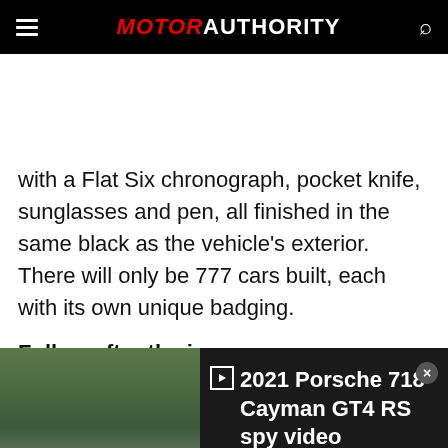MOTOR AUTHORITY
with a Flat Six chronograph, pocket knife, sunglasses and pen, all finished in the same black as the vehicle's exterior. There will only be 777 cars built, each with its own unique badging.
Follow after the jump...
[Figure (screenshot): Embedded video player showing 2021 Porsche 718 Cayman GT4 RS spy video thumbnail with a dark sports car on a race track. Play button visible in center.]
2021 Porsche 718 Cayman GT4 RS spy video